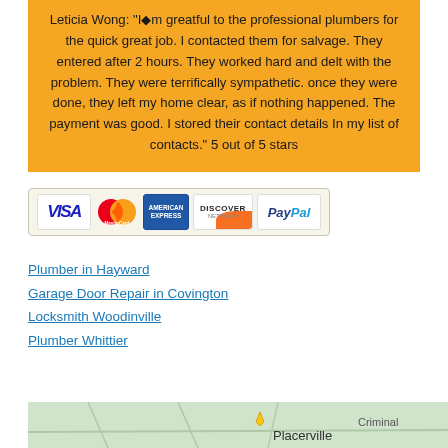Leticia Wong: "I'm greatful to the professional plumbers for the quick great job. I contacted them for salvage. They entered after 2 hours. They worked hard and delt with the problem. They were terrifically sympathetic. once they were done, they left my home clear, as if nothing happened. The payment was good. I stored their contact details In my list of contacts." 5 out of 5 stars
[Figure (other): Payment method icons: VISA, MasterCard, American Express, Discover, PayPal]
Plumber in Hayward
Garage Door Repair in Covington
Locksmith Woodinville
Plumber Whittier
[Figure (map): Map showing Placerville location]